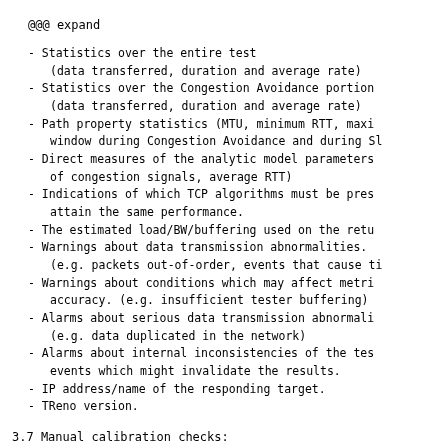@@@ expand
- Statistics over the entire test
    (data transferred, duration and average rate)
- Statistics over the Congestion Avoidance portion
    (data transferred, duration and average rate)
- Path property statistics (MTU, minimum RTT, maxi
    window during Congestion Avoidance and during Sl
- Direct measures of the analytic model parameters
    of congestion signals, average RTT)
- Indications of which TCP algorithms must be pres
    attain the same performance.
- The estimated load/BW/buffering used on the retu
- Warnings about data transmission abnormalities.
    (e.g. packets out-of-order, events that cause ti
- Warnings about conditions which may affect metri
    accuracy. (e.g. insufficient tester buffering)
- Alarms about serious data transmission abnormali
    (e.g. data duplicated in the network)
- Alarms about internal inconsistencies of the tes
    events which might invalidate the results.
- IP address/name of the responding target.
- TReno version.
3.7 Manual calibration checks:
The following discussion assumes that the TReno diagno
implemented as a user mode program running under a sta
operating system.  Other implementations, such as thos